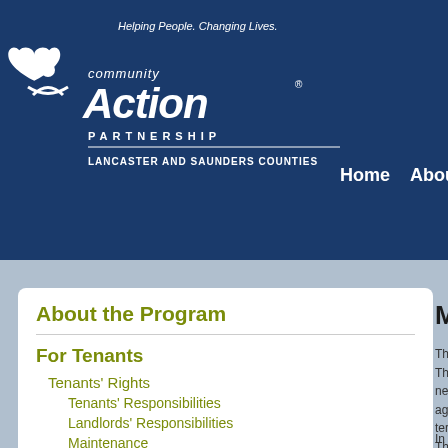[Figure (logo): Community Action Partnership Lancaster and Saunders Counties logo with heart icon and tagline 'Helping People. Changing Lives.']
Home   About
About the Program
For Tenants
Tenants' Rights
Tenants' Responsibilities
Landlords' Responsibilities
Maintenance
Access
Mut
The la This a negot agree termir The m what l payme Termi
In the